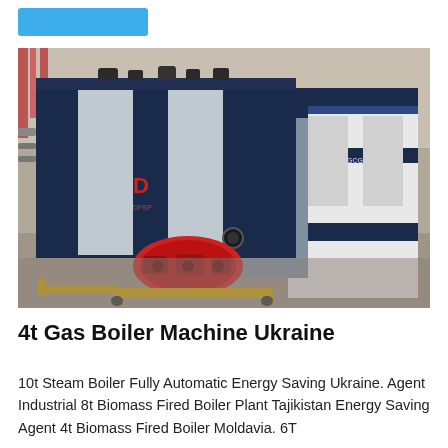[Figure (photo): Industrial gas boiler machines in a factory setting. A large dark navy blue boiler with silver panels and a red burner attached at the front, mounted on yellow piping, is shown in the foreground. A second white and navy industrial boiler unit is visible in the background.]
4t Gas Boiler Machine Ukraine
10t Steam Boiler Fully Automatic Energy Saving Ukraine. Agent Industrial 8t Biomass Fired Boiler Plant Tajikistan Energy Saving Agent 4t Biomass Fired Boiler Moldavia. 6T